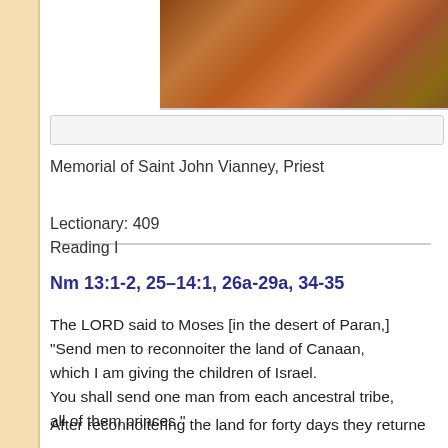[Figure (photo): Religious painting showing figures in robes, partially cropped at top of page]
Memorial of Saint John Vianney, Priest
Lectionary: 409
Reading I
Nm 13:1-2, 25–14:1, 26a-29a, 34-35
The LORD said to Moses [in the desert of Paran,] "Send men to reconnoiter the land of Canaan, which I am giving the children of Israel. You shall send one man from each ancestral tribe, all of them princes."
After reconnoitering the land for forty days they returne...